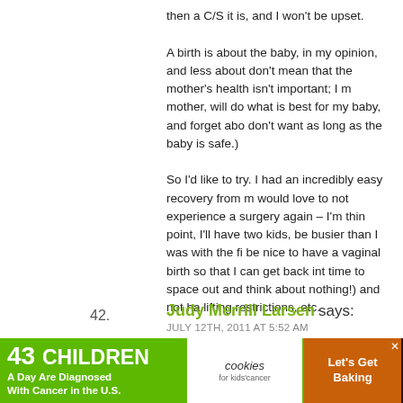then a C/S it is, and I won't be upset. A birth is about the baby, in my opinion, and less about [the mother]. (I don't mean that the mother's health isn't important; I mean that I, as a mother, will do what is best for my baby, and forget about what I want or don't want as long as the baby is safe.) So I'd like to try. I had an incredibly easy recovery from my C/S, but would love to not experience a surgery again – I'm thinking that at that point, I'll have two kids, be busier than I was with the first, and it would be nice to have a vaginal birth so that I can get back into [life faster, have time to space out and think about nothing!] and not ha[ve] lifting restrictions, etc. But however it works out is how it's supposed to work o[ut]. If I have a successful VBAC, great. If I have a repeat C/S, great. He[alth is what's] important.
> Reply
42. Judy Merrill Larsen says:
JULY 12TH, 2011 AT 5:52 AM
[Figure (infographic): Advertisement banner: '43 CHILDREN A Day Are Diagnosed With Cancer in the U.S.' with cookies for kids' cancer logo and 'Let's Get Baking' call to action on orange/tan background]